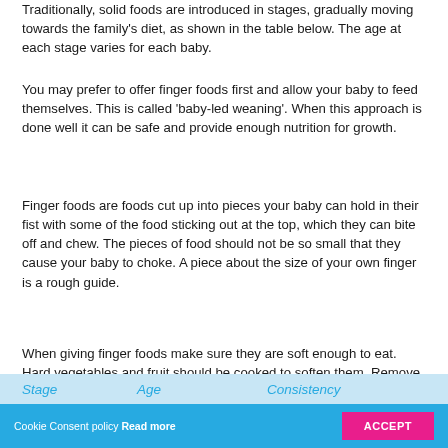Traditionally, solid foods are introduced in stages, gradually moving towards the family's diet, as shown in the table below. The age at each stage varies for each baby.
You may prefer to offer finger foods first and allow your baby to feed themselves. This is called 'baby-led weaning'. When this approach is done well it can be safe and provide enough nutrition for growth.
Finger foods are foods cut up into pieces your baby can hold in their fist with some of the food sticking out at the top, which they can bite off and chew. The pieces of food should not be so small that they cause your baby to choke. A piece about the size of your own finger is a rough guide.
When giving finger foods make sure they are soft enough to eat. Hard vegetables and fruit should be cooked to soften them. Remove pips, stones and hard skin. From nine to twelve months, firmer finger foods can be offered.
| Stage | Age | Consistency |
| --- | --- | --- |
Cookie Consent policy Read more ACCEPT